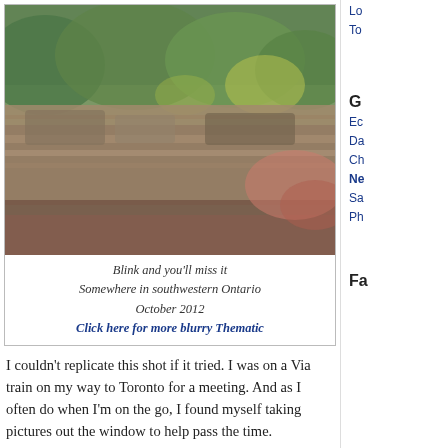[Figure (photo): Blurry motion-blur photo of a pasture and tree line taken from a moving train window, showing green trees and brown grassy land in southwestern Ontario, October 2012.]
Blink and you'll miss it
Somewhere in southwestern Ontario
October 2012
Click here for more blurry Thematic
I couldn't replicate this shot if it tried. I was on a Via train on my way to Toronto for a meeting. And as I often do when I'm on the go, I found myself taking pictures out the window to help pass the time.
Instead of using a real camera, I had my iPad. I know it isn't even remotely the purist's choice, but I thought it would be fun to shoot with a camera that was clearly not built for the task. It isn't always about perfection, and sometimes you just want to deliberately muck around with the wrong tool and see what you can come up with.
This one is my favorite from that day. The stolen view of the pasture behind the tree line reminds me there are communities and lives playing out just feet
G
Ec
Da
Ch
Ne
Sa
Ph
Fa